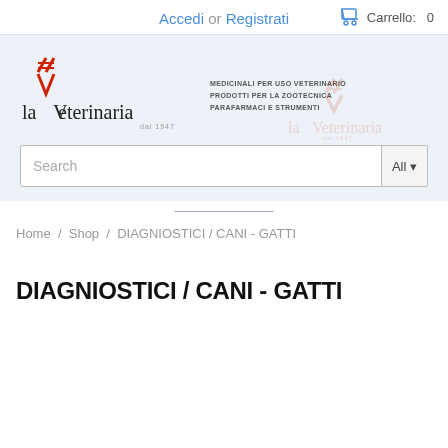Accedi or Registrati
Carrello: 0
[Figure (logo): La Veterinaria dal 1947 logo with red cross/hash symbol and stylized V, with tagline: MEDICINALI PER USO VETERINARIO PRODOTTI PER LA ZOOTECNICA PARAFARMACI E STRUMENTI]
[Figure (logo): La Veterinaria watermark logo (faded/translucent) overlaid on search bar area]
Search
All
Home / Shop / DIAGNIOSTICI / CANI - GATTI
DIAGNIOSTICI / CANI - GATTI